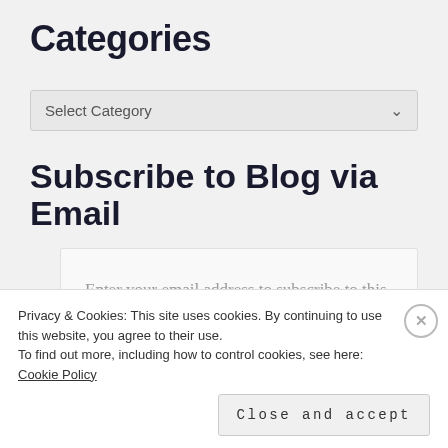Categories
Select Category
Subscribe to Blog via Email
Enter your email address to subscribe to this blog and receive notifications of new posts by email.
Privacy & Cookies: This site uses cookies. By continuing to use this website, you agree to their use. To find out more, including how to control cookies, see here: Cookie Policy
Close and accept